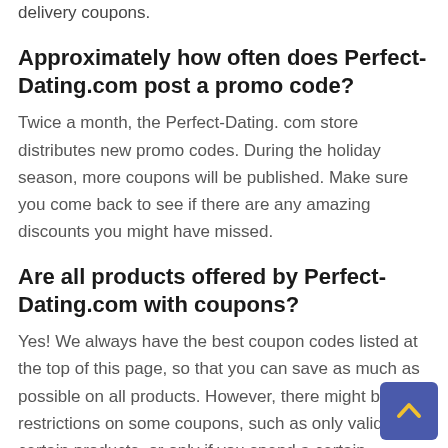delivery coupons.
Approximately how often does Perfect-Dating.com post a promo code?
Twice a month, the Perfect-Dating. com store distributes new promo codes. During the holiday season, more coupons will be published. Make sure you come back to see if there are any amazing discounts you might have missed.
Are all products offered by Perfect-Dating.com with coupons?
Yes! We always have the best coupon codes listed at the top of this page, so that you can save as much as possible on all products. However, there might be restrictions on some coupons, such as only valid for certain products, or only if you spend a certain amount. If the initial Perfect Dating. com code you try does not work, you might need to try a few alternative ones. The finest codes will be